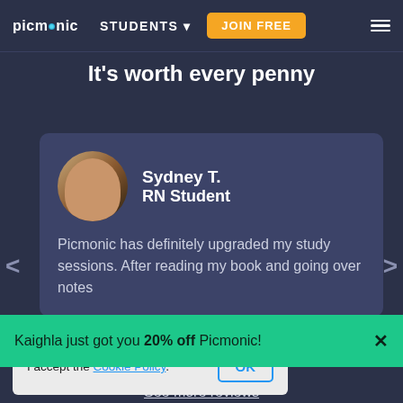picmonic | STUDENTS | JOIN FREE
It's worth every penny
Sydney T.
RN Student
Picmonic has definitely upgraded my study sessions. After reading my book and going over notes
Kaighla just got you 20% off Picmonic!
I accept the Cookie Policy.
See more reviews